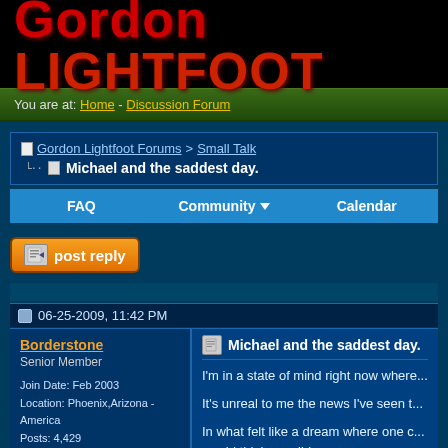Gordon LIGHTFOOT
You are at: Home - Discussion Forum
Gordon Lightfoot Forums > Small Talk
Michael and the saddest day.
FAQ   Community   Calendar
[Figure (screenshot): Post reply button with document icon]
06-25-2009, 11:42 PM
Borderstone
Senior Member

Join Date: Feb 2003
Location: Phoenix,Arizona -America
Posts: 4,429
Michael and the saddest day.

I'm in a state of mind right now where...

It's unreal to me the news I've seen t...

In what felt like a dream where one c... would think possible.